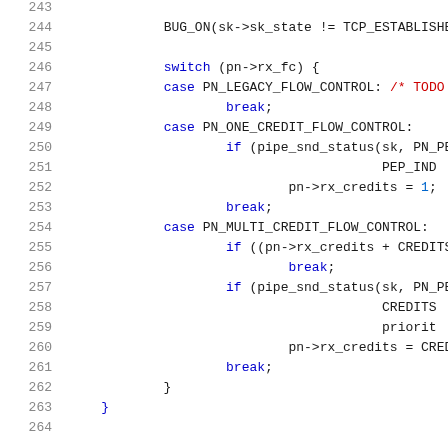[Figure (screenshot): Source code listing showing C code lines 243-264 with syntax highlighting. Blue keywords, red comments, black identifiers, blue line numbers.]